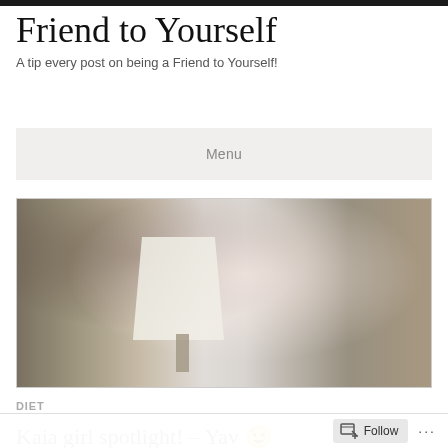Friend to Yourself
A tip every post on being a Friend to Yourself!
Menu
[Figure (photo): Blurry photo of a person with dark hair in a white/light outfit, with a lamp visible in the background. The image appears to be a motion-blurred selfie or action shot.]
DIET
Kaia girl spotlight! – Yay 😉
Follow ...